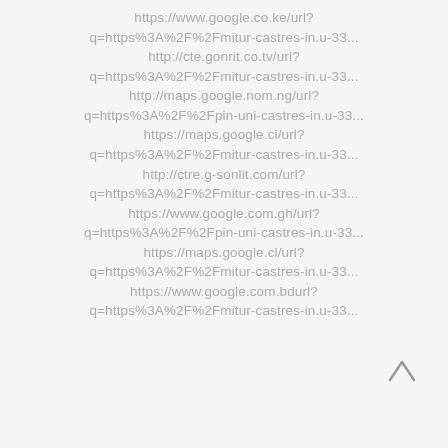https://www.google.co.ke/url?q=https%3A%2F%2Fmitur-castres-in.u-33...
http://cte.gonrit.co.tv/url?q=https%3A%2F%2Fmitur-castres-in.u-33...
http://maps.google.nom.ng/url?q=https%3A%2F%2Fpin-uni-castres-in.u-33...
https://maps.google.ci/url?q=https%3A%2F%2Fmitur-castres-in.u-33...
http://ctre.g-sonlit.com/url?q=https%3A%2F%2Fmitur-castres-in.u-33...
https://www.google.com.gh/url?q=https%3A%2F%2Fpin-uni-castres-in.u-33...
https://maps.google.cl/url?q=https%3A%2F%2Fmitur-castres-in.u-33...
https://www.google.com.bdurl?q=https%3A%2F%2Fmitur-castres-in.u-33...